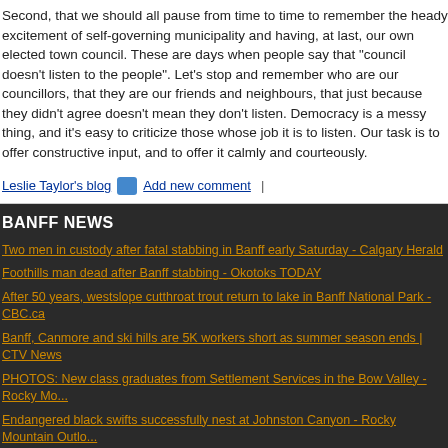Second, that we should all pause from time to time to remember the heady excitement of self-governing municipality and having, at last, our own elected town council. These are days when people say that "council doesn't listen to the people". Let's stop and remember who are our councillors, that they are our friends and neighbours, that just because they didn't agree doesn't mean they don't listen. Democracy is a messy thing, and it's easy to criticize those whose job it is to listen. Our task is to offer constructive input, and to offer it calmly and courteously.
Leslie Taylor's blog | Add new comment |
BANFF NEWS
Two men in custody after fatal stabbing in Banff early Saturday - Calgary Herald
Foothills man dead after Banff stabbing - Okotoks TODAY
After 50 years, westslope cutthroat trout return to lake in Banff National Park - CBC.ca
Banff, Canmore and ski hills are 5K workers short as summer season ends | CTV News
PHOTOS: New class graduates from Settlement Services in the Bow Valley - Rocky Mountain Outlook
Endangered black swifts successfully nest at Johnston Canyon - Rocky Mountain Outlook
Endangered black swifts successfully nest at Johnston Canyon - Rocky Mountain Outlook
Camping this long weekend? Here's a list of fire bans and advisories - LacombOnline.ca